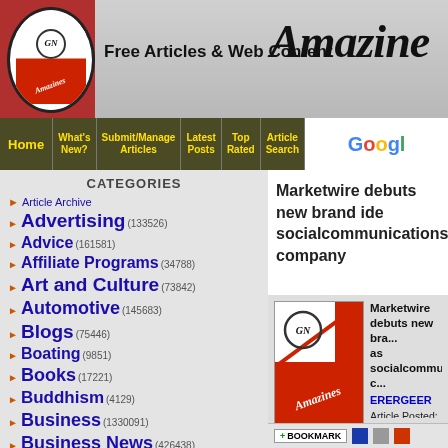[Figure (logo): Amazines.com website header with logo, tagline 'Free Articles & Web Content', and brand name 'Amazines']
Home | What's New? | Submit/Manage Articles | Latest Posts | Top Rated | Article Search | Google
CATEGORIES
Article Archive
Advertising (133526)
Advice (161581)
Affiliate Programs (34788)
Art and Culture (73842)
Automotive (145683)
Blogs (75446)
Boating (9851)
Books (17221)
Buddhism (4129)
Business (1330091)
Business News (426438)
Business Opportunities (366485)
Marketwire debuts new brand identity as socialcommunications company
Marketwire debuts new bra... as socialcommunications c...
ERERGEER
Article Posted: 11/01/2013
Article Views: 226
Articles Written: 1575 - MORE ARTICLES FROM THIS AUTHOR
Word Count: 785
Article Votes: 0